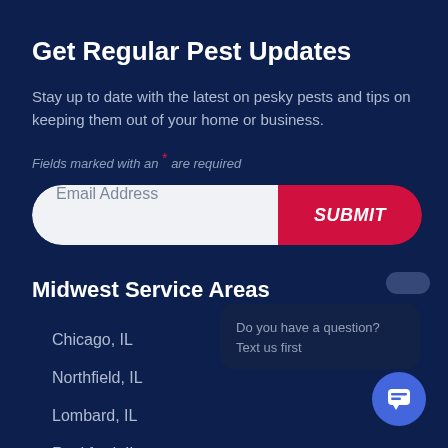Get Regular Pest Updates
Stay up to date with the latest on pesky pests and tips on keeping them out of your home or business.
Fields marked with an * are required
[Figure (screenshot): Email address input field with a red SUBMIT button, styled as a pill/rounded rectangle form row]
[Figure (screenshot): Partially visible chat popup overlay with text 'Do you have a question? Text us first' and a blue chat bubble icon in the lower right]
Midwest Service Areas
Chicago, IL
Northfield, IL
Lombard, IL
Rockford, IL